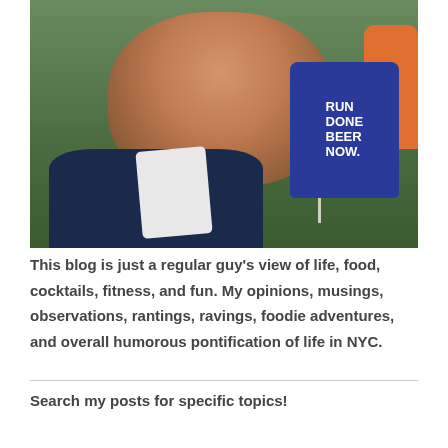[Figure (photo): A smiling man wearing a Rock 'n' Roll Brooklyn race medal and a dark blue shirt, holding up a blue can that reads 'RUN DONE BEER NOW.' in white bold text. The background shows a running event with other participants and a grassy field.]
This blog is just a regular guy's view of life, food, cocktails, fitness, and fun. My opinions, musings, observations, rantings, ravings, foodie adventures, and overall humorous pontification of life in NYC.
Search my posts for specific topics!